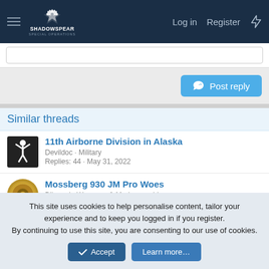ShadowSpear Special Operations — Log in | Register
Post reply
Similar threads
11th Airborne Division in Alaska
Devildoc · Military
Replies: 44 · May 31, 2022
Mossberg 930 JM Pro Woes
Blizzard · Weapons & Marksmanship
Replies: 5 · Jun 24, 2022
This site uses cookies to help personalise content, tailor your experience and to keep you logged in if you register.
By continuing to use this site, you are consenting to our use of cookies.